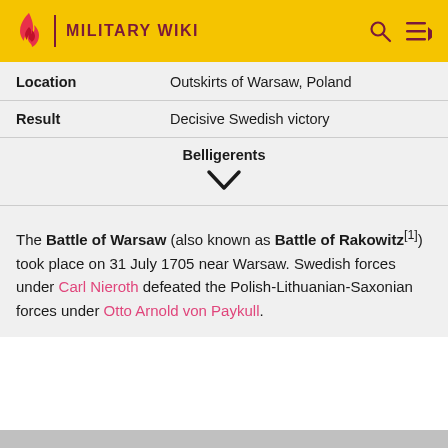MILITARY WIKI
| Location | Outskirts of Warsaw, Poland |
| Result | Decisive Swedish victory |
| Belligerents |  |
| (chevron expand) |  |
The Battle of Warsaw (also known as Battle of Rakowitz[1]) took place on 31 July 1705 near Warsaw. Swedish forces under Carl Nieroth defeated the Polish-Lithuanian-Saxonian forces under Otto Arnold von Paykull.